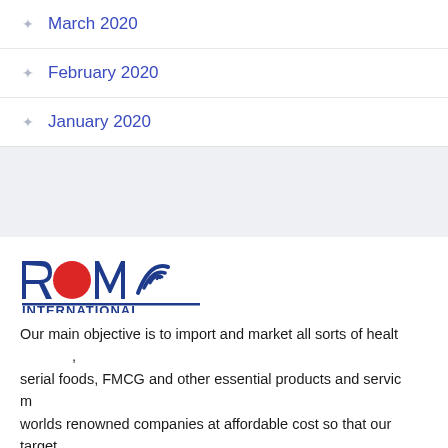March 2020
February 2020
January 2020
[Figure (logo): ROMA INTERNATIONAL logo with red circle and blue text and wifi-style arc]
Our main objective is to import and market all sorts of health, serial foods, FMCG and other essential products and services from worlds renowned companies at affordable cost so that our target consumers can get it within their reach price to live with a safe and